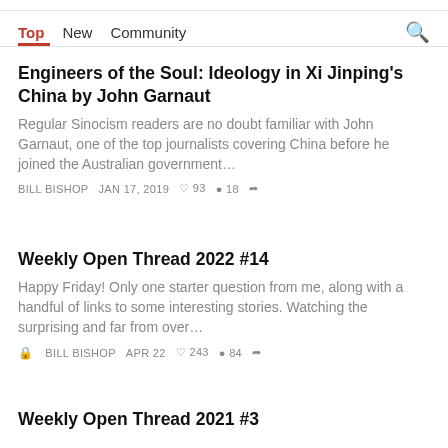Top   New   Community
Engineers of the Soul: Ideology in Xi Jinping's China by John Garnaut
Regular Sinocism readers are no doubt familiar with John Garnaut, one of the top journalists covering China before he joined the Australian government…
BILL BISHOP   JAN 17, 2019   ♡ 93   ◯ 18   ↗
Weekly Open Thread 2022 #14
Happy Friday! Only one starter question from me, along with a handful of links to some interesting stories. Watching the surprising and far from over…
🔒  BILL BISHOP   APR 22   ♡ 243   ◯ 84   ↗
Weekly Open Thread 2021 #3